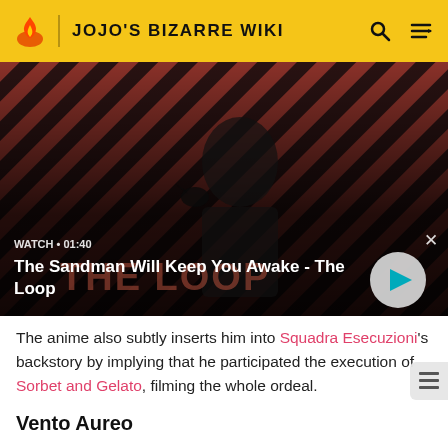JOJO'S BIZARRE WIKI
[Figure (screenshot): Video thumbnail showing a dark-clad figure with a crow on their shoulder against a red and black diagonal stripe background. Overlay text reads: WATCH • 01:40 / The Sandman Will Keep You Awake - The Loop. A circular play button is visible on the right.]
The anime also subtly inserts him into Squadra Esecuzioni's backstory by implying that he participated the execution of Sorbet and Gelato, filming the whole ordeal.
Vento Aureo